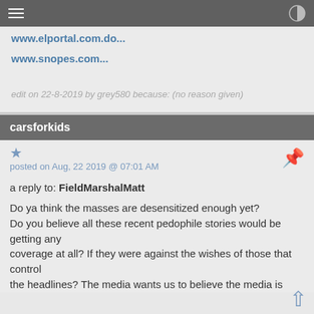www.elportal.com.do...
www.snopes.com...
edit on 22-8-2019 by grey580 because: (no reason given)
carsforkids
posted on Aug, 22 2019 @ 07:01 AM
a reply to: FieldMarshalMatt
Do ya think the masses are desensitized enough yet?
Do you believe all these recent pedophile stories would be getting any
coverage at all? If they were against the wishes of those that control
the headlines? The media wants us to believe the media is